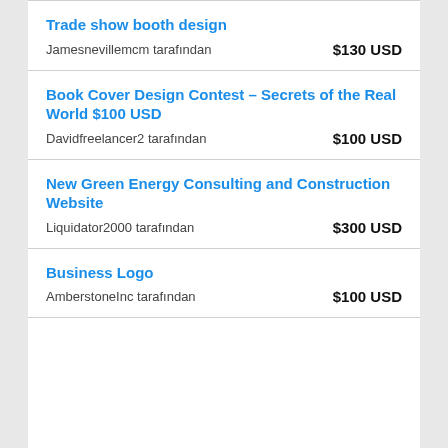Trade show booth design
Jamesnevillemcm tarafından   $130 USD
Book Cover Design Contest – Secrets of the Real World $100 USD
Davidfreelancer2 tarafından   $100 USD
New Green Energy Consulting and Construction Website
Liquidator2000 tarafından   $300 USD
Business Logo
AmberstoneInc tarafından   $100 USD